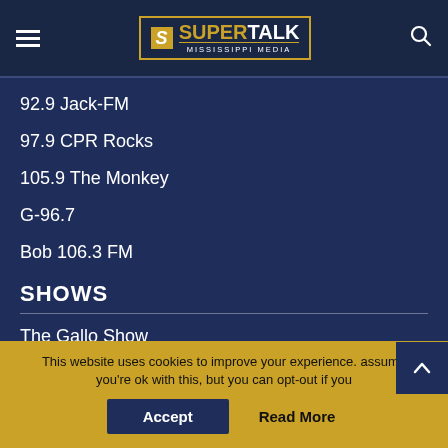[Figure (logo): SuperTalk Mississippi Media logo with hamburger menu and search icon in dark navy header]
92.9 Jack-FM
97.9 CPR Rocks
105.9 The Monkey
G-96.7
Bob 106.3 FM
SHOWS
The Gallo Show
Coast Vue with Ricky Matthews
Good Things with Rebecca Turner
This website uses cookies to improve your experience. assume you're ok with this, but you can opt-out if you